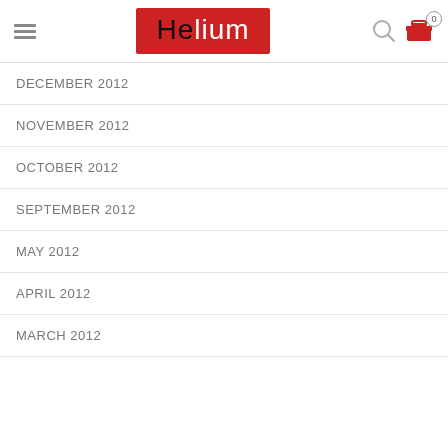Helium — navigation header with logo, search and cart
DECEMBER 2012
NOVEMBER 2012
OCTOBER 2012
SEPTEMBER 2012
MAY 2012
APRIL 2012
MARCH 2012